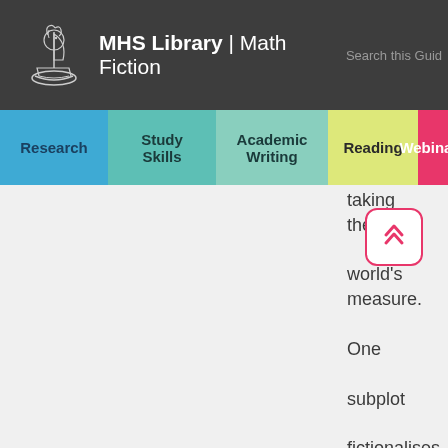MHS Library | Math Fiction   Search this Guide
Research
Study Skills
Academic Writing
Reading
Webinars
taking the world's measure. One subplot fictionalises the conflict between Gauss and his son
[Figure (other): Scroll-to-top button with double chevron arrow icon in pink/red color on white rounded square background]